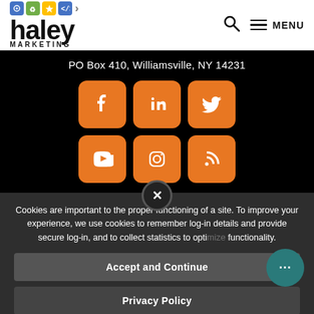[Figure (logo): Haley Marketing logo with colorful icons and text]
PO Box 410, Williamsville, NY 14231
[Figure (infographic): Six orange rounded square social media icon buttons: Facebook, LinkedIn, Twitter, YouTube, Instagram, RSS]
Cookies are important to the proper functioning of a site. To improve your experience, we use cookies to remember log-in details and provide secure log-in, and to collect statistics to optimize functionality.
Accept and Continue
Privacy Policy